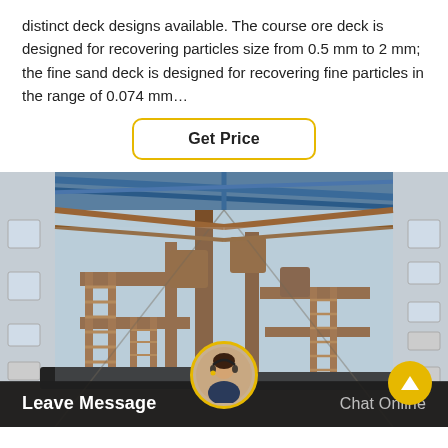distinct deck designs available. The course ore deck is designed for recovering particles size from 0.5 mm to 2 mm; the fine sand deck is designed for recovering fine particles in the range of 0.074 mm…
Get Price
[Figure (photo): Interior of an industrial ore processing plant showing large multi-level structures with orange/brown metal staircases and blue steel roof trusses, wide industrial hall with windows on both sides.]
Leave Message
Chat Online